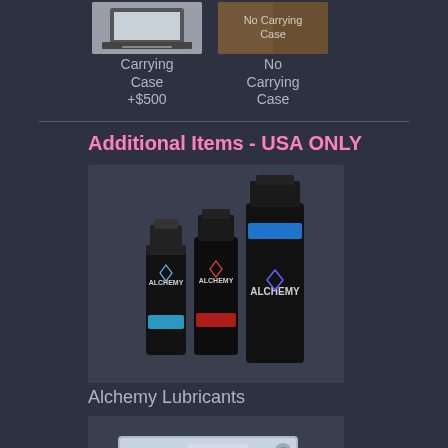[Figure (photo): Photo of a laptop carrying case on white background]
Carrying Case
+$500
[Figure (photo): Photo showing no carrying case on dark brick background]
No Carrying
Case
Additional Items - USA ONLY
[Figure (photo): Photo of three Alchemy Lubricant bottles of different sizes]
Alchemy Lubricants
[Figure (photo): Photo of a small metal tool or accessory, partially visible]